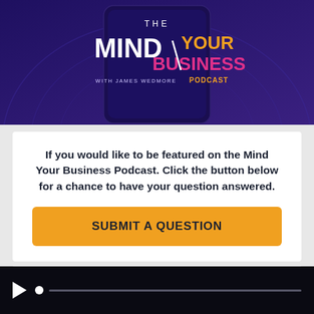[Figure (photo): The Mind Your Business Podcast with James Wedmore - podcast cover art showing a phone with the podcast logo on a purple background]
If you would like to be featured on the Mind Your Business Podcast. Click the button below for a chance to have your question answered.
SUBMIT A QUESTION
Recent Posts
[Figure (other): Audio media player bar with play button and progress track on dark background]